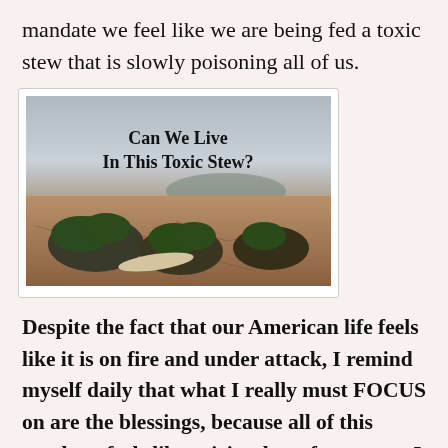mandate we feel like we are being fed a toxic stew that is slowly poisoning all of us.
[Figure (illustration): Image with text overlay 'Can We Live In This Toxic Stew?' showing a barren cracked desert landscape with dark mossy rock formations under a cloudy sky.]
Despite the fact that our American life feels like it is on fire and under attack, I remind myself daily that what I really must FOCUS on are the blessings, because all of this mayhem feels like spiritual warfare to me. I choose to focus on what God can do for us rather than what Satan is